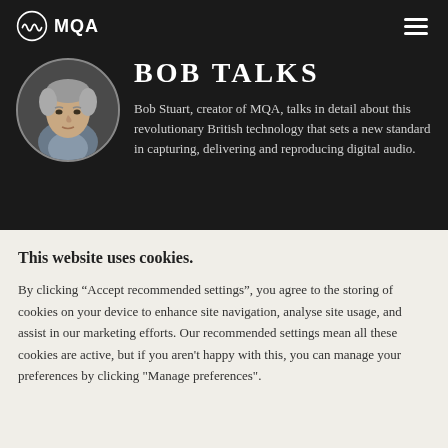[Figure (logo): MQA logo with waveform circle icon and text 'MQA']
BOB TALKS
[Figure (photo): Circular portrait photo of Bob Stuart, an older man with grey hair]
Bob Stuart, creator of MQA, talks in detail about this revolutionary British technology that sets a new standard in capturing, delivering and reproducing digital audio.
This website uses cookies.
By clicking “Accept recommended settings”, you agree to the storing of cookies on your device to enhance site navigation, analyse site usage, and assist in our marketing efforts. Our recommended settings mean all these cookies are active, but if you aren't happy with this, you can manage your preferences by clicking "Manage preferences".